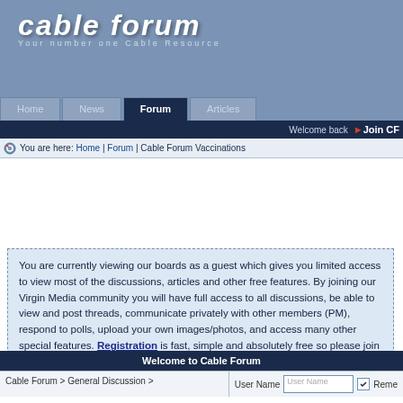[Figure (logo): Cable Forum logo with text 'cable forum' and tagline 'Your number one Cable Resource']
Home | News | Forum | Articles
Welcome back  Join CF
You are here: Home | Forum | Cable Forum Vaccinations
You are currently viewing our boards as a guest which gives you limited access to view most of the discussions, articles and other free features. By joining our Virgin Media community you will have full access to all discussions, be able to view and post threads, communicate privately with other members (PM), respond to polls, upload your own images/photos, and access many other special features. Registration is fast, simple and absolutely free so please join our community today.
| Welcome to Cable Forum |
| --- |
| Cable Forum > General Discussion > | User Name | [User Name input] | Remember |